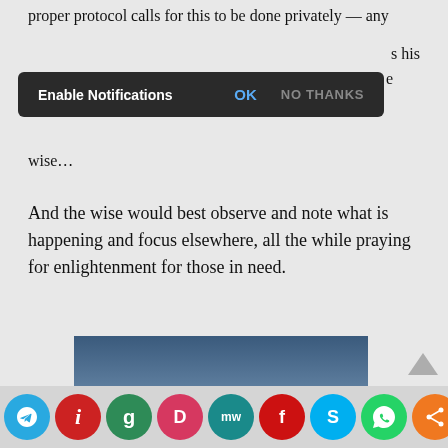proper protocol calls for this to be done privately — any
s his
e
[Figure (screenshot): Browser notification bar overlay with dark background showing 'Enable Notifications', 'OK' (blue), and 'NO THANKS' (gray) buttons]
wise…
And the wise would best observe and note what is happening and focus elsewhere, all the while praying for enlightenment for those in need.
[Figure (photo): Sunset photo showing a low sun on the horizon over a flat road/landscape with dark silhouette foreground and blue-orange sky]
[Figure (infographic): Social sharing icon bar at bottom with colored circular icons for Telegram (blue), news/info (red), Goodreads (green-teal), Pocketcasts (pink-red), MW (teal), Flipboard (red), Skype (blue), WhatsApp (green), and a share icon (orange)]